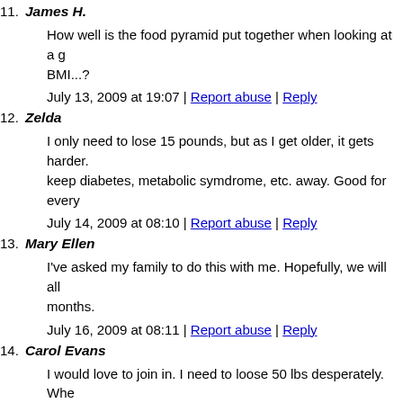11. James H.
How well is the food pyramid put together when looking at a g BMI...?
July 13, 2009 at 19:07 | Report abuse | Reply
12. Zelda
I only need to lose 15 pounds, but as I get older, it gets harder. keep diabetes, metabolic symdrome, etc. away. Good for every
July 14, 2009 at 08:10 | Report abuse | Reply
13. Mary Ellen
I've asked my family to do this with me. Hopefully, we will all months.
July 16, 2009 at 08:11 | Report abuse | Reply
14. Carol Evans
I would love to join in. I need to loose 50 lbs desperately. Whe
July 16, 2009 at 13:54 | Report abuse | Reply
15. Fred
want to join your goal of better health & fitness. willing to ma